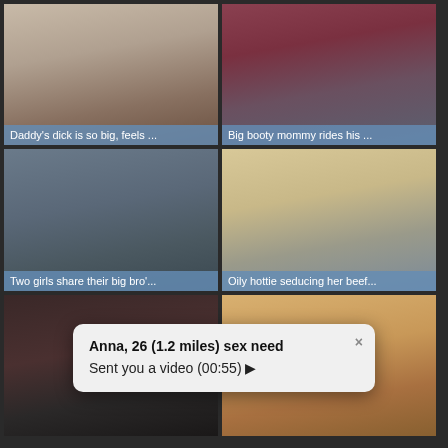[Figure (photo): Video thumbnail 1 with caption: Daddy's dick is so big, feels ...]
[Figure (photo): Video thumbnail 2 with caption: Big booty mommy rides his ...]
[Figure (photo): Video thumbnail 3 with caption: Two girls share their big bro'...]
[Figure (photo): Video thumbnail 4 with caption: Oily hottie seducing her beef...]
[Figure (photo): Video thumbnail 5 - partial, no caption visible]
[Figure (photo): Video thumbnail 6 - partial, no caption visible]
Anna, 26 (1.2 miles) sex need
Sent you a video (00:55) ▶